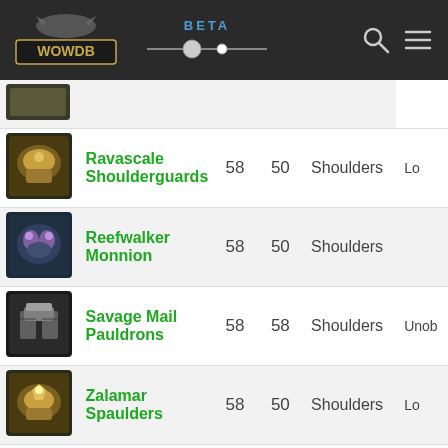WOWDB BETA
| Icon | Name | Level | Req Level | Slot | Binding |
| --- | --- | --- | --- | --- | --- |
| [icon] | Ravascale Shoulderguards | 58 | 50 | Shoulders | Lo |
| [icon] | Reefwalker Monnion | 58 | 50 | Shoulders |  |
| [icon] | Savage Mail Pauldrons | 58 | 58 | Shoulders | Unob |
| [icon] | Zalamar Spaulders | 58 | 50 | Shoulders | Lo |
| [icon] | Shimmerscale Pauldrons | 52 | 45 | Shoulders | Cr |
| [icon] | Shimmerscale Pauldrons | 52 | 45 | Shoulders |  |
| [icon] | Pauldrons of Colossal Burden | 51 | 45 | Shoulders |  |
| [icon] | [partial] |  |  |  |  |